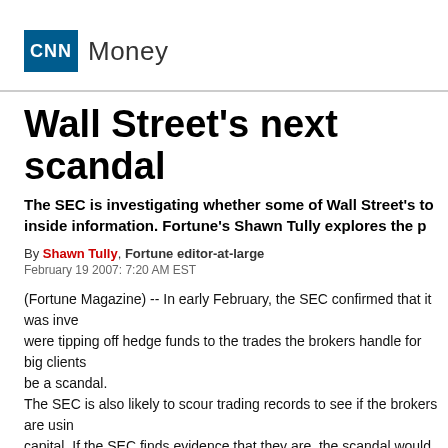CNN Money
Wall Street's next scandal
The SEC is investigating whether some of Wall Street's top brokers were tipping off hedge funds to the trades the brokers handle for big clients. Fortune's Shawn Tully explores the potential scandal.
By Shawn Tully, Fortune editor-at-large
February 19 2007: 7:20 AM EST
(Fortune Magazine) -- In early February, the SEC confirmed that it was investigating whether some of Wall Street's top brokers were tipping off hedge funds to the trades the brokers handle for big clients. If so, that could be a scandal.
The SEC is also likely to scour trading records to see if the brokers are using inside information to trade for their own capital. If the SEC finds evidence that they are, the scandal would be enormous -- because trading for their own capital is a huge profit machine.
A big question mark hangs over Wall Street: How is it that the top firms consistently beat the odds, earning spectacular returns on their own investments? Last year the five biggest U.S. investment banks - Morgan Stanley (Charts), Goldman Sachs (Charts), Merrill Lynch (Charts), Lehman Brothers (Charts),